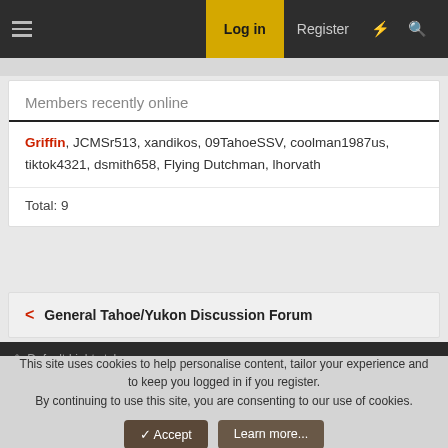Log in  Register
Members recently online
Griffin, JCMSr513, xandikos, 09TahoeSSV, coolman1987us, tiktok4321, dsmith658, Flying Dutchman, lhorvath
Total: 9
< General Tahoe/Yukon Discussion Forum
Default Light style
Contact us  Terms and rules  Privacy policy  Help
Community platform by XenForo® © 2010-2022 XenForo Ltd.
This site uses cookies to help personalise content, tailor your experience and to keep you logged in if you register. By continuing to use this site, you are consenting to our use of cookies.
✓ Accept   Learn more...